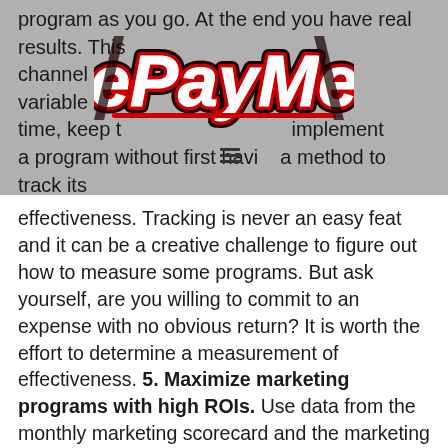program as you go. At the end you have real results. This channel wor... variable at a time, keep t... implement a program without first havi... a method to track its effectiveness. Tracking is never an easy feat and it can be a creative challenge to figure out how to measure some programs. But ask yourself, are you willing to commit to an expense with no obvious return? It is worth the effort to determine a measurement of effectiveness. 5. Maximize marketing programs with high ROIs. Use data from the monthly marketing scorecard and the marketing audit to brainstorm new marketing ideas. Then, look at the ideas realistically and acknowledge that, within budgets and time constraints, you can't implement every idea. Instead, prioritize and implement a few ideas you can do well based on the highest possible ROI. Use existing metrics to estimate results. Summary: Making Your Marketing Pay Off In summary, your marketing programs need to pay off...
[Figure (logo): ePayMe logo with red and black bold italic text on white background with red and black border/shadow]